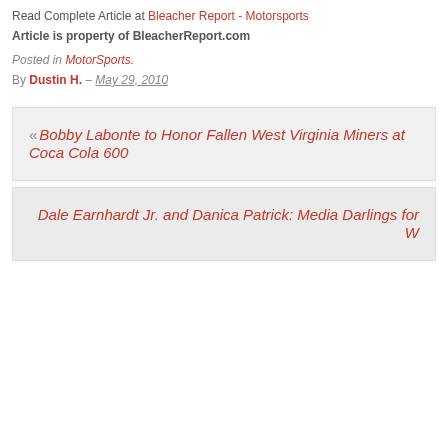Read Complete Article at Bleacher Report - Motorsports
Article is property of BleacherReport.com
Posted in MotorSports.
By Dustin H. – May 29, 2010
« Bobby Labonte to Honor Fallen West Virginia Miners at Coca Cola 600
Dale Earnhardt Jr. and Danica Patrick: Media Darlings for W